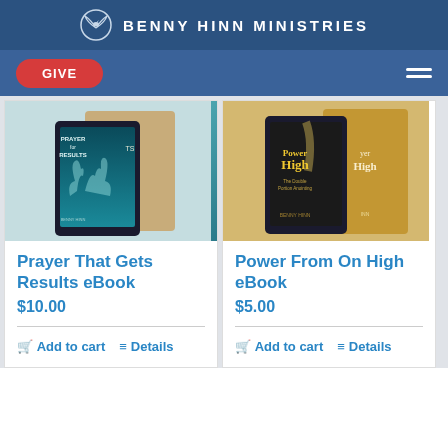BENNY HINN MINISTRIES
GIVE
[Figure (photo): Photo of 'Prayer That Gets Results' ebook displayed on tablet devices]
Prayer That Gets Results eBook
$10.00
Add to cart  Details
[Figure (photo): Photo of 'Power From On High' ebook displayed on tablet devices]
Power From On High eBook
$5.00
Add to cart  Details